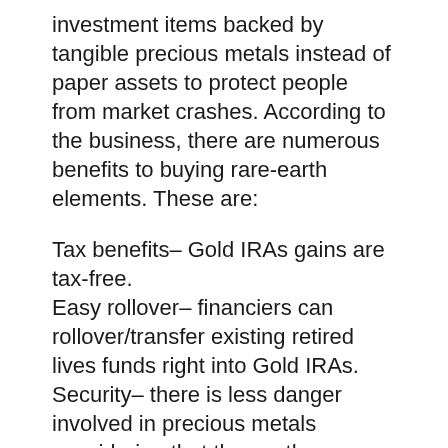investment items backed by tangible precious metals instead of paper assets to protect people from market crashes. According to the business, there are numerous benefits to buying rare-earth elements. These are:
Tax benefits– Gold IRAs gains are tax-free.
Easy rollover– financiers can rollover/transfer existing retired lives funds right into Gold IRAs.
Security– there is less danger involved in precious metals considering that the worth appreciates minimally every time.
Diversity– gold financial investments safeguard your cash from currency risk, inflation, geographical dangers, default risk, and also a financial situation.